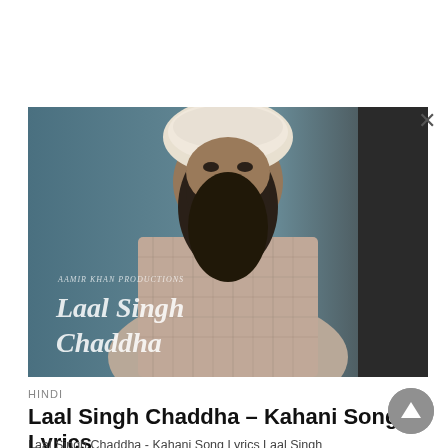[Figure (photo): Movie poster/promotional image for Laal Singh Chaddha showing a bearded man wearing a turban and plaid shirt, with script logo text 'Laal Singh Chaddha' and 'AAMIR KHAN PRODUCTIONS' text overlay]
HINDI
Laal Singh Chaddha – Kahani Song Lyrics
Laal Singh Chaddha - Kahani Song Lyrics Laal Singh Chaddha - Kahani Song LyricsSong Name : KahaniSinger : Mohan KannanMusic...